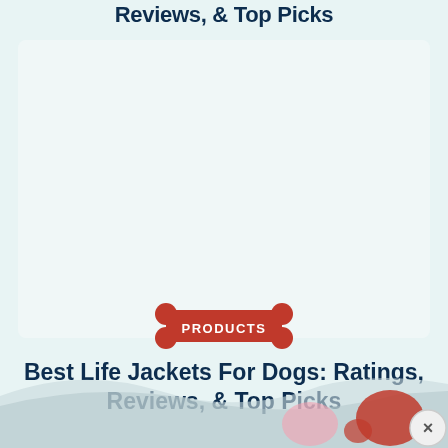Reviews, & Top Picks
[Figure (illustration): Light teal/mint colored card background area]
[Figure (logo): Red dog bone shape with white bold text PRODUCTS]
Best Life Jackets For Dogs: Ratings, Reviews, & Top Picks
[Figure (illustration): Bottom wave decoration with pink hearts and close button overlay]